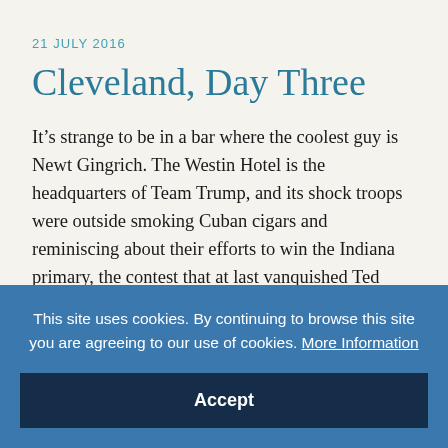21 JULY 2016
Cleveland, Day Three
It’s strange to be in a bar where the coolest guy is Newt Gingrich. The Westin Hotel is the headquarters of Team Trump, and its shock troops were outside smoking Cuban cigars and reminiscing about their efforts to win the Indiana primary, the contest that at last vanquished Ted Cruz. The delegates and GOP operatives at the bar not lining up for selfies with Newt felt the Trump campaign had already won something…
This site uses cookies. By continuing to browse this site you are agreeing to our use of cookies. More Information
Accept